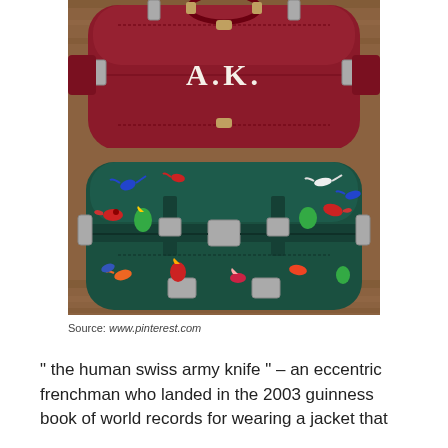[Figure (photo): Two leather duffle bags viewed from above on a wooden floor surface. The top bag is dark red/burgundy leather with silver hardware and the monogram 'A.K.' embossed or embroidered on it. The bottom bag is dark green leather covered with colorful embroidered bird and floral motifs in red, blue, yellow, and white.]
Source: www.pinterest.com
" the human swiss army knife " – an eccentric frenchman who landed in the 2003 guinness book of world records for wearing a jacket that